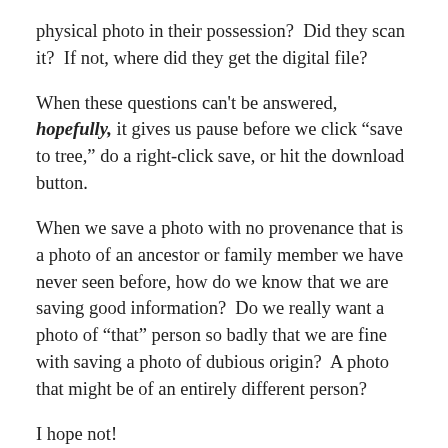physical photo in their possession?  Did they scan it?  If not, where did they get the digital file?
When these questions can't be answered, hopefully, it gives us pause before we click “save to tree,” do a right-click save, or hit the download button.
When we save a photo with no provenance that is a photo of an ancestor or family member we have never seen before, how do we know that we are saving good information?  Do we really want a photo of “that” person so badly that we are fine with saving a photo of dubious origin?  A photo that might be of an entirely different person?
I hope not!
Not every photo requires the full treatment when it